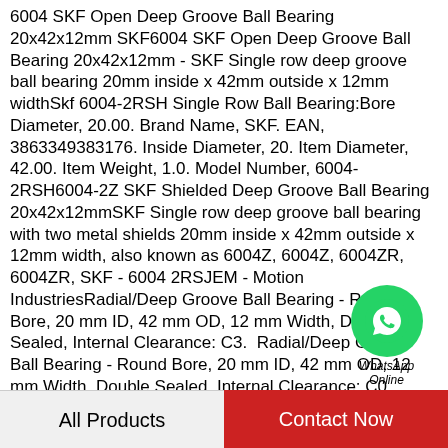6004 SKF Open Deep Groove Ball Bearing 20x42x12mm SKF6004 SKF Open Deep Groove Ball Bearing 20x42x12mm - SKF Single row deep groove ball bearing 20mm inside x 42mm outside x 12mm widthSkf 6004-2RSH Single Row Ball Bearing:Bore Diameter, 20.00. Brand Name, SKF. EAN, 3863349383176. Inside Diameter, 20. Item Diameter, 42.00. Item Weight, 1.0. Model Number, 6004-2RSH6004-2Z SKF Shielded Deep Groove Ball Bearing 20x42x12mmSKF Single row deep groove ball bearing with two metal shields 20mm inside x 42mm outside x 12mm width, also known as 6004Z, 6004Z, 6004ZR, 6004ZR, SKF - 6004 2RSJEM - Motion IndustriesRadial/Deep Groove Ball Bearing - Round Bore, 20 mm ID, 42 mm OD, 12 mm Width, Double Sealed, Internal Clearance: C3. Radial/Deep Groove Ball Bearing - Round Bore, 20 mm ID, 42 mm OD, 12 mm Width, Double Sealed, Internal Clearance: C0. Radial/Deep Groove Ball Bearing - Round Bore
[Figure (other): WhatsApp Online contact button - green circular WhatsApp icon with phone handset, labeled 'WhatsApp Online' in italic text below]
All Products    Contact Now